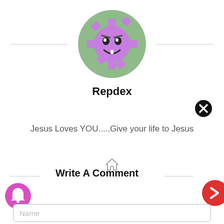[Figure (illustration): Circular avatar with green background featuring a purple gear/cog character with a smiling face and eyes]
Repdex
[Figure (illustration): Black filled circle with white X (close/dismiss button)]
Jesus Loves YOU.....Give your life to Jesus
[Figure (illustration): Gray home icon]
Write A Comment
[Figure (illustration): Magenta/pink circle with white bell notification icon]
[Figure (illustration): Red circle with white right-arrow]
Name